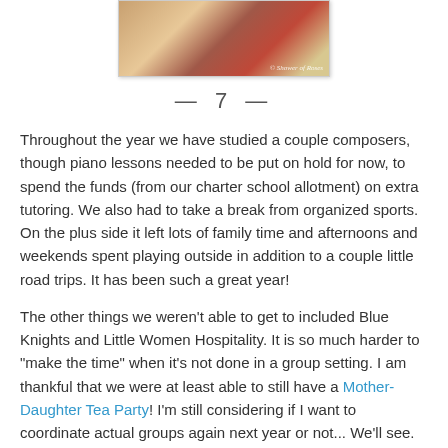[Figure (photo): Partial view of a photo showing books or materials, with watermark '© Shower of Roses']
— 7 —
Throughout the year we have studied a couple composers, though piano lessons needed to be put on hold for now, to spend the funds (from our charter school allotment) on extra tutoring.  We also had to take a break from organized sports.  On the plus side it left lots of family time and afternoons and weekends spent playing outside in addition to a couple little road trips.  It has been such a great year!
The other things we weren't able to get to included Blue Knights and Little Women Hospitality.  It is so much harder to "make the time" when it's not done in a group setting.  I am thankful that we were at least able to still have a Mother-Daughter Tea Party!  I'm still considering if I want to coordinate actual groups again next year or not... We'll see.